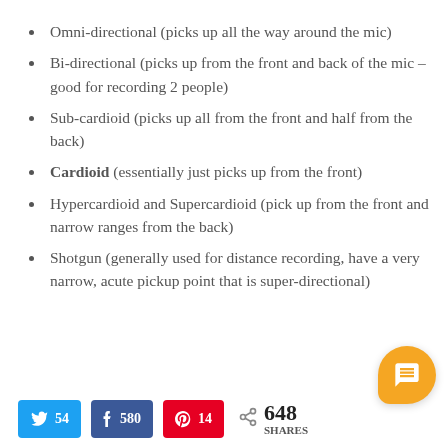Omni-directional (picks up all the way around the mic)
Bi-directional (picks up from the front and back of the mic – good for recording 2 people)
Sub-cardioid (picks up all from the front and half from the back)
Cardioid (essentially just picks up from the front)
Hypercardioid and Supercardioid (pick up from the front and narrow ranges from the back)
Shotgun (generally used for distance recording, have a very narrow, acute pickup point that is super-directional)
Twitter 54  Facebook 580  Pinterest 14  648 SHARES